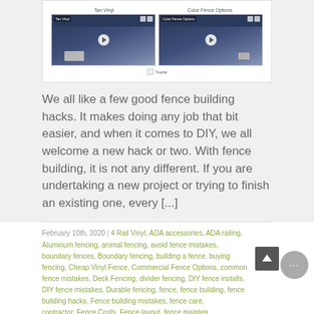[Figure (screenshot): Screenshot of a video gallery showing two video thumbnails labeled 'Tan Vinyl' and 'Color Fence Options', each showing a man in a dark red shirt against a blue background with a play button overlay.]
We all like a few good fence building hacks. It makes doing any job that bit easier, and when it comes to DIY, we all welcome a new hack or two. With fence building, it is not any different. If you are undertaking a new project or trying to finish an existing one, every [...]
February 10th, 2020 | 4 Rail Vinyl, ADA accessories, ADA railing, Aluminum fencing, animal fencing, avoid fence mistakes, boundary fences, Boundary fencing, building a fence, buying fencing, Cheap Vinyl Fence, Commercial Fence Options, common fence mistakes, Deck Fencing, divider fencing, DIY fence installs, DIY fence mistakes, Durable fencing, fence, fence building, fence building hacks, Fence building mistakes, fence care, fence contractor, Fence Costs, Fence layout, fence maintenance, fence makeovers, fence mistakes, Fence replacing, Fence Supply, Fence value, fence vinyl privacy, fencing cheat sheet, fencing hardware, fencing replacement, Fencing Terms, fencing tools